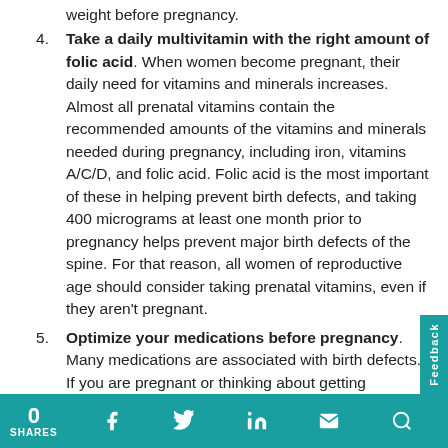weight before pregnancy.
Take a daily multivitamin with the right amount of folic acid. When women become pregnant, their daily need for vitamins and minerals increases. Almost all prenatal vitamins contain the recommended amounts of the vitamins and minerals needed during pregnancy, including iron, vitamins A/C/D, and folic acid. Folic acid is the most important of these in helping prevent birth defects, and taking 400 micrograms at least one month prior to pregnancy helps prevent major birth defects of the spine. For that reason, all women of reproductive age should consider taking prenatal vitamins, even if they aren't pregnant.
Optimize your medications before pregnancy. Many medications are associated with birth defects. If you are pregnant or thinking about getting pregnant in the near future, tell that to any health care providers who prescribe you drugs, so they can make sure your medication is compatible with pregnancy. In some cases, pregnancy may even need to be delayed until the medication is
0 SHARES | Facebook | Twitter | LinkedIn | Email | Search | Feedback